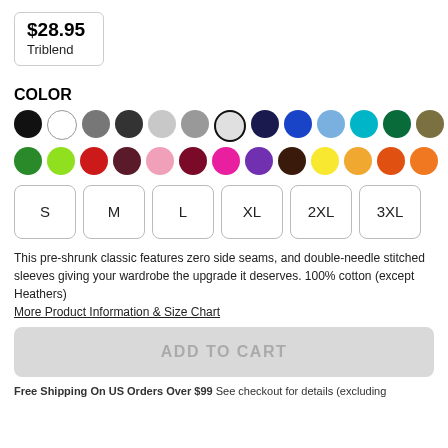$28.95
Triblend
COLOR
[Figure (other): Two rows of color swatches: Row 1: black, white, dark gray, charcoal, light gray, medium gray, light gray (selected/outlined), navy, royal blue, light blue, teal/cyan, dark green, olive. Row 2: green, lime green, red, dark red/maroon, pink, burgundy, hot pink, purple, dark brown, yellow, light orange, dark orange, orange.]
S  M  L  XL  2XL  3XL
This pre-shrunk classic features zero side seams, and double-needle stitched sleeves giving your wardrobe the upgrade it deserves. 100% cotton (except Heathers)
More Product Information & Size Chart
ADD TO CART
Free Shipping On US Orders Over $99 See checkout for details (excluding